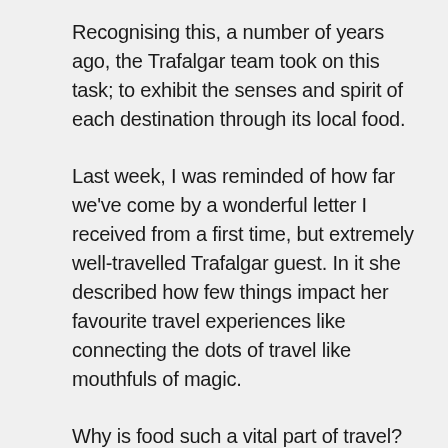Recognising this, a number of years ago, the Trafalgar team took on this task; to exhibit the senses and spirit of each destination through its local food.
Last week, I was reminded of how far we've come by a wonderful letter I received from a first time, but extremely well-travelled Trafalgar guest. In it she described how few things impact her favourite travel experiences like connecting the dots of travel like mouthfuls of magic.
Why is food such a vital part of travel? Food acts as an important conduit for our richest, most rewarding experiences. It mirrors the culture and spirit of the places we visit, as well as the locals we